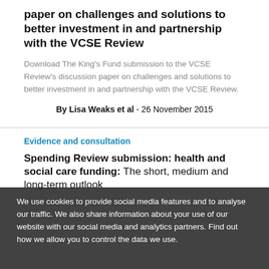paper on challenges and solutions to better investment in and partnership with the VCSE Review
Download The King's Fund submission to the VCSE Review’s discussion paper on challenges and solutions to better investment in and partnership with the VCSE Review.
By Lisa Weaks et al - 26 November 2015
Evidence and consultation
Spending Review submission: health and social care funding: The short, medium and long-term outlook
We use cookies to provide social media features and to analyse our traffic. We also share information about your use of our website with our social media and analytics partners. Find out how we allow you to control the data we use.